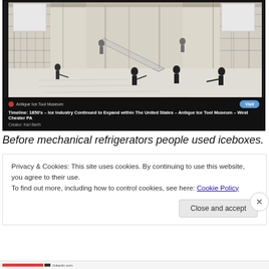[Figure (screenshot): Screenshot of a webpage showing an antique engraving of 19th century ice harvesting workers inside a large ice storage building. Below the engraving is a dark info bar showing the source: Antique Ice Tool Museum, with title 'Timeline: 1850's – Ice Industry Continued to Expand within The United States – Antique Ice Tool Museum – West Chester PA', Creator: Karl Barth, and a blue 'Visit' button.]
Before mechanical refrigerators people used iceboxes. Big
Privacy & Cookies: This site uses cookies. By continuing to use this website, you agree to their use.
To find out more, including how to control cookies, see here: Cookie Policy